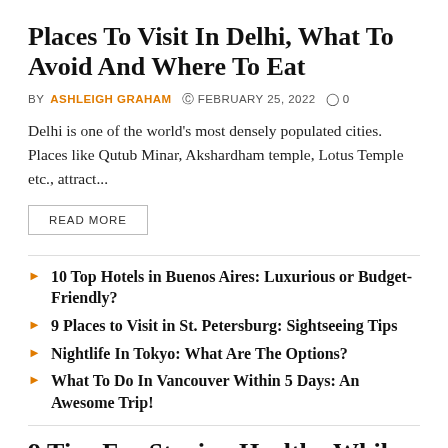Places To Visit In Delhi, What To Avoid And Where To Eat
BY ASHLEIGH GRAHAM  © FEBRUARY 25, 2022  ○ 0
Delhi is one of the world's most densely populated cities. Places like Qutub Minar, Akshardham temple, Lotus Temple etc., attract...
READ MORE
10 Top Hotels in Buenos Aires: Luxurious or Budget-Friendly?
9 Places to Visit in St. Petersburg: Sightseeing Tips
Nightlife In Tokyo: What Are The Options?
What To Do In Vancouver Within 5 Days: An Awesome Trip!
9 Tips For Staying Healthy While Travelling
[Figure (photo): Gray image placeholder at bottom of page]